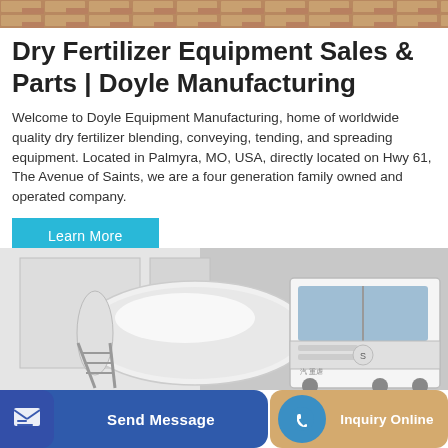[Figure (photo): Top banner image showing brick/terracotta textured surface in warm brown tones]
Dry Fertilizer Equipment Sales & Parts | Doyle Manufacturing
Welcome to Doyle Equipment Manufacturing, home of worldwide quality dry fertilizer blending, conveying, tending, and spreading equipment. Located in Palmyra, MO, USA, directly located on Hwy 61, The Avenue of Saints, we are a four generation family owned and operated company.
[Figure (other): Learn More button — cyan/teal colored rectangular button with white text]
[Figure (photo): Photo of a white cement mixer truck (concrete truck) in an industrial setting with grey background]
[Figure (other): Bottom action bar with two sections: 'Send Message' button in dark blue with messenger icon, and 'Inquiry Online' button in tan/gold with blue circular phone icon]